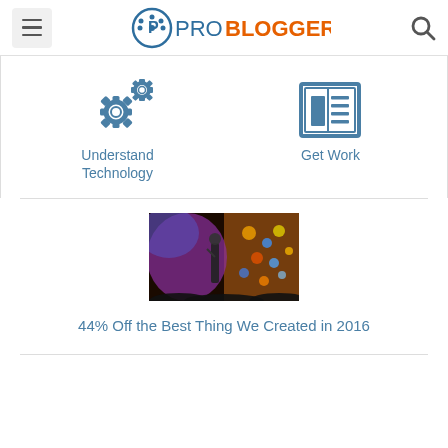ProBlogger
[Figure (illustration): Two icons side by side: gears icon labeled 'Understand Technology' and a newspaper/document icon labeled 'Get Work', both in steel blue color]
[Figure (photo): A speaker on stage with colorful stage lighting - purple, blue and orange/yellow bokeh lights]
44% Off the Best Thing We Created in 2016